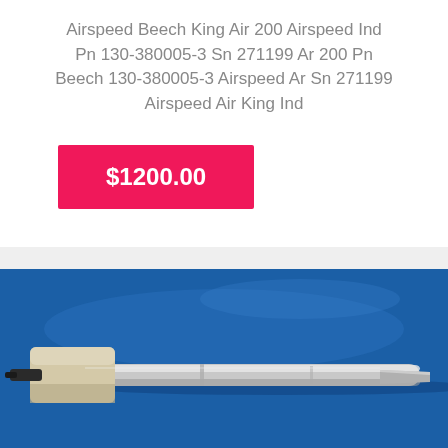Airspeed Beech King Air 200 Airspeed Ind Pn 130-380005-3 Sn 271199 Ar 200 Pn Beech 130-380005-3 Airspeed Ar Sn 271199 Airspeed Air King Ind
$1200.00
[Figure (photo): Photo of a Beech King Air 200 airspeed indicator pitot tube component, metallic silver tube with beige/white connector end, photographed on a blue surface.]